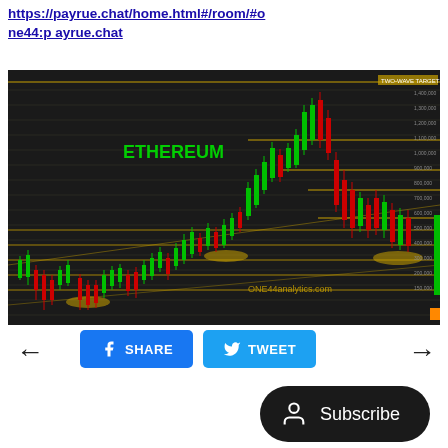https://payrue.chat/home.html#/room/#one44:payrue.chat
[Figure (screenshot): Ethereum cryptocurrency candlestick chart on dark background showing price action with green and red candles, horizontal support/resistance lines in yellow, ETHEREUM label in green text, ONE44analytics.com watermark, showing a significant price rise and fall]
← SHARE TWEET →
Subscribe